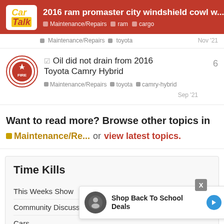2016 ram promaster city windshield cowl w... | Maintenance/Repairs | ram | cargo
Maintenance/Repairs  toyota  Nov '21
Oil did not drain from 2016 Toyota Camry Hybrid
Maintenance/Repairs  toyota  camry-hybrid  Sep '21
Want to read more? Browse other topics in Maintenance/Re... or view latest topics.
Time Kills
This Weeks Show
Community Discussion
Cars
Bad d...
[Figure (screenshot): Ad overlay: Shop Back To School Deals with circular icon and blue arrow button, X close button]